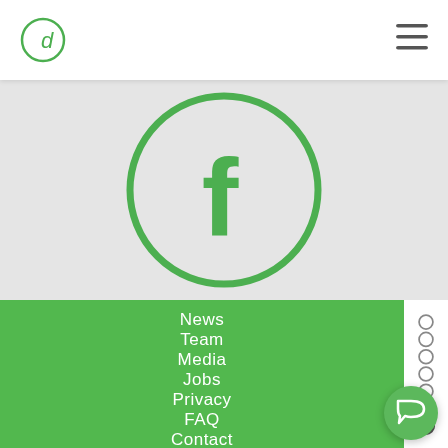[Figure (logo): Circular logo with letter d inside, green outline]
[Figure (illustration): Hamburger menu icon with three horizontal lines]
[Figure (illustration): Facebook logo - letter f inside a green circle, on light grey background]
News
Team
Media
Jobs
Privacy
FAQ
Contact
[Figure (illustration): Vertical navigation dots panel with 7 circles on white background]
[Figure (illustration): Chat bubble icon in circular green button, bottom right]